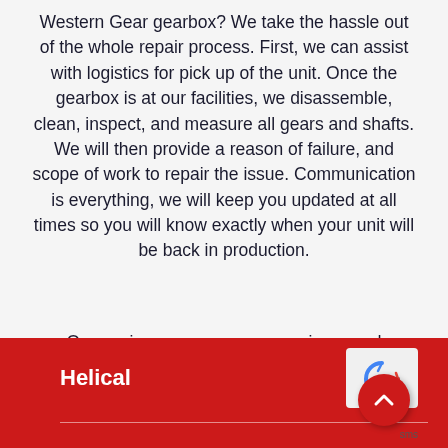Western Gear gearbox? We take the hassle out of the whole repair process. First, we can assist with logistics for pick up of the unit. Once the gearbox is at our facilities, we disassemble, clean, inspect, and measure all gears and shafts. We will then provide a reason of failure, and scope of work to repair the issue. Communication is everything, we will keep you updated at all times so you will know exactly when your unit will be back in production.
Our engineers can reverse-engineer and remanufacture almost any type of industrial gear:
Helical